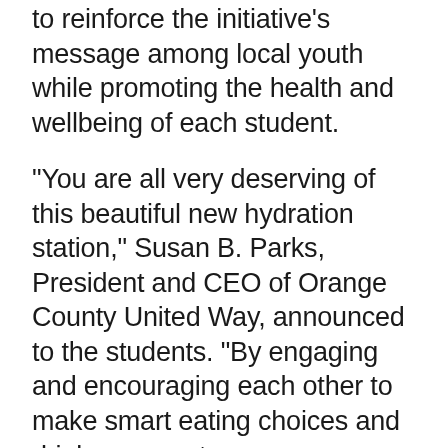to reinforce the initiative's message among local youth while promoting the health and wellbeing of each student.
“You are all very deserving of this beautiful new hydration station,” Susan B. Parks, President and CEO of Orange County United Way, announced to the students. “By engaging and encouraging each other to make smart eating choices and drink more water, you are reinforcing the importance of good health that can last a lifetime.”
The student-led awareness campaign was led by the school’s former ASB President and Vice President, both now in high school.
“Our students did a wonderful job engaging each other via social media, school events, blogs and posters,” explained ToWinkle teacher Kristen